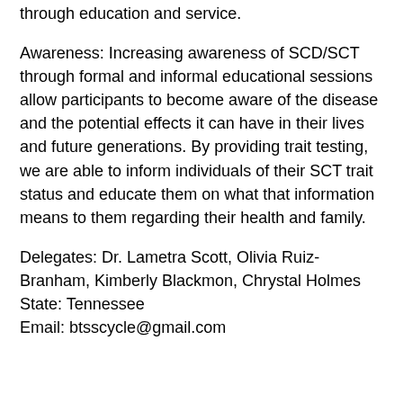through education and service.
Awareness: Increasing awareness of SCD/SCT through formal and informal educational sessions allow participants to become aware of the disease and the potential effects it can have in their lives and future generations. By providing trait testing, we are able to inform individuals of their SCT trait status and educate them on what that information means to them regarding their health and family.
Delegates: Dr. Lametra Scott, Olivia Ruiz-Branham, Kimberly Blackmon, Chrystal Holmes
State: Tennessee
Email: btsscycle@gmail.com